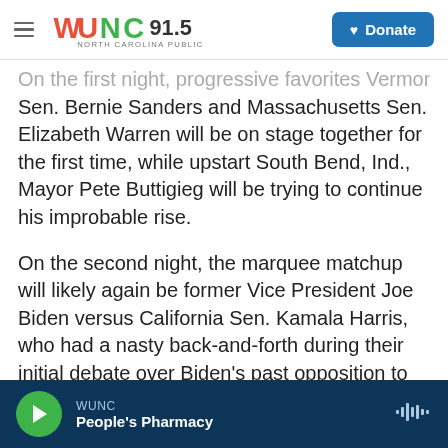WUNC 91.5 North Carolina Public Radio | Donate
On the first night, progressive favorites Vermont Sen. Bernie Sanders and Massachusetts Sen. Elizabeth Warren will be on stage together for the first time, while upstart South Bend, Ind., Mayor Pete Buttigieg will be trying to continue his improbable rise.
On the second night, the marquee matchup will likely again be former Vice President Joe Biden versus California Sen. Kamala Harris, who had a nasty back-and-forth during their initial debate over Biden's past opposition to busing in some instances.
WUNC | People's Pharmacy